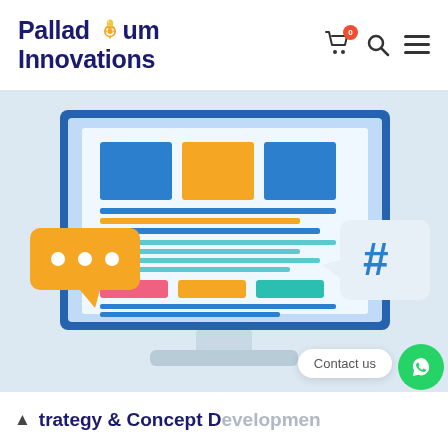Palladium Innovations
[Figure (illustration): Illustration of a desktop computer monitor showing a website layout with colorful blocks (blue, orange, teal, pink), a chat bubble with three dots on the left, and a hashtag symbol in a speech bubble on the right, on a light blue background.]
Contact us
Strategy & Concept Development